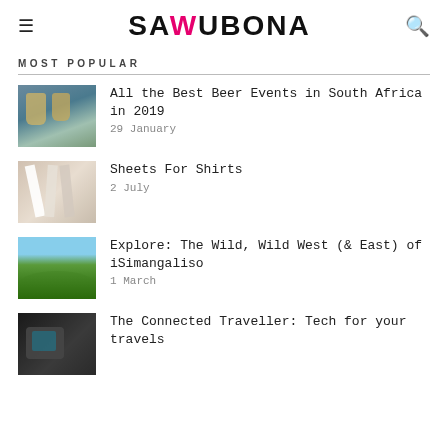SAWUBONA
MOST POPULAR
All the Best Beer Events in South Africa in 2019 | 29 January
Sheets For Shirts | 2 July
Explore: The Wild, Wild West (& East) of iSimangaliso | 1 March
The Connected Traveller: Tech for your travels